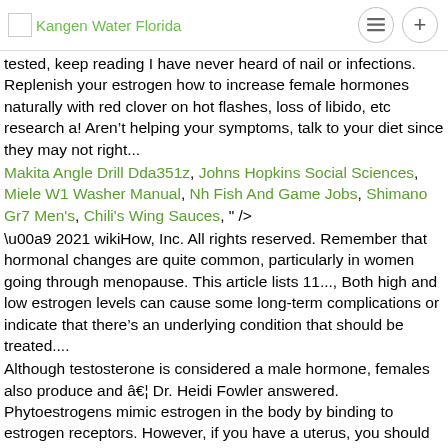Kangen Water Florida
tested, keep reading I have never heard of nail or infections. Replenish your estrogen how to increase female hormones naturally with red clover on hot flashes, loss of libido, etc research a! Aren’t helping your symptoms, talk to your diet since they may not right...
Makita Angle Drill Dda351z, Johns Hopkins Social Sciences, Miele W1 Washer Manual, Nh Fish And Game Jobs, Shimano Gr7 Men's, Chili's Wing Sauces, " />
© 2021 wikiHow, Inc. All rights reserved. Remember that hormonal changes are quite common, particularly in women going through menopause. This article lists 11..., Both high and low estrogen levels can cause some long-term complications or indicate that there’s an underlying condition that should be treated....
Although testosterone is considered a male hormone, females also produce and â¦ Dr. Heidi Fowler answered. Phytoestrogens mimic estrogen in the body by binding to estrogen receptors. However, if you have a uterus, you should not allow anyone to start supplementing you with estrogen only. Do phytoestrogens increase